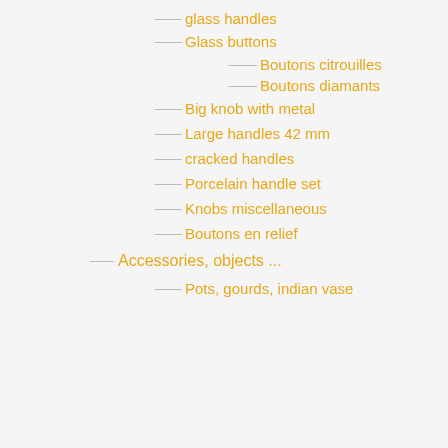glass handles
Glass buttons
Boutons citrouilles
Boutons diamants
Big knob with metal
Large handles 42 mm
cracked handles
Porcelain handle set
Knobs miscellaneous
Boutons en relief
Accessories, objects ...
Pots, gourds, indian vase
By continuing browsing this website, you must accept the use of cookies and writing on your connected device. This site is registered with the CNIL.